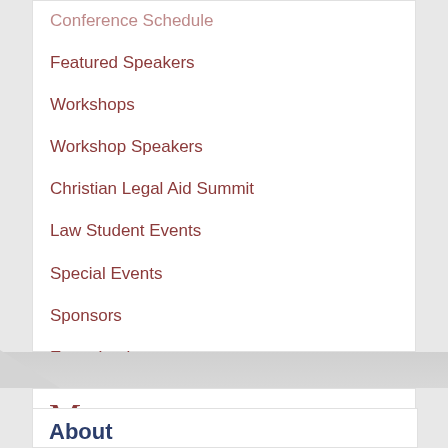Conference Schedule
Featured Speakers
Workshops
Workshop Speakers
Christian Legal Aid Summit
Law Student Events
Special Events
Sponsors
Event Login
Partner with CLS
Ma
About